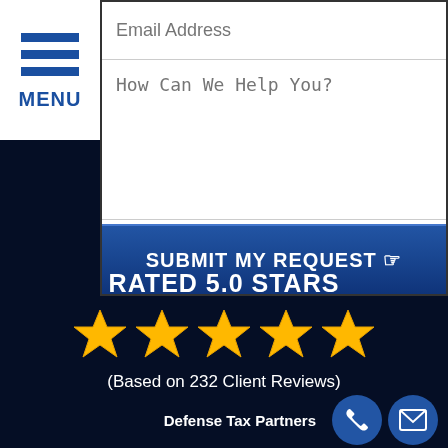[Figure (screenshot): Web form with email address field, message textarea, and Submit My Request button on a dark navy background with a hamburger menu on the left.]
RATED 5.0 STARS
[Figure (infographic): Five gold stars rating illustration]
(Based on 232 Client Reviews)
Defense Tax Partners